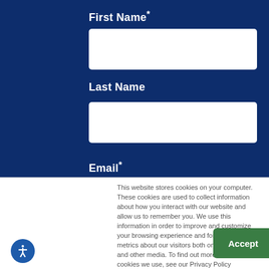First Name*
[Figure (screenshot): White input box for First Name field]
Last Name
[Figure (screenshot): White input box for Last Name field]
Email*
This website stores cookies on your computer. These cookies are used to collect information about how you interact with our website and allow us to remember you. We use this information in order to improve and customize your browsing experience and for analytics and metrics about our visitors both on this website and other media. To find out more about the cookies we use, see our Privacy Policy
Accept